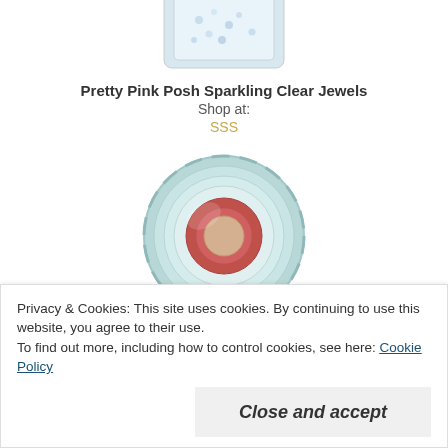[Figure (photo): Photo of a bag of clear sparkling jewels/gems, partially visible at top]
Pretty Pink Posh Sparkling Clear Jewels
Shop at:
SSS
[Figure (photo): Photo of a roll of Scor-tape double-sided crafting tape with blue-white striped exterior and red core]
Scor-tape 2 1/2 Inch Crafting Tape
Shop at:
SSS
Privacy & Cookies: This site uses cookies. By continuing to use this website, you agree to their use.
To find out more, including how to control cookies, see here: Cookie Policy
Close and accept
Tonic Deluxe Adhesive Nuvo Glue